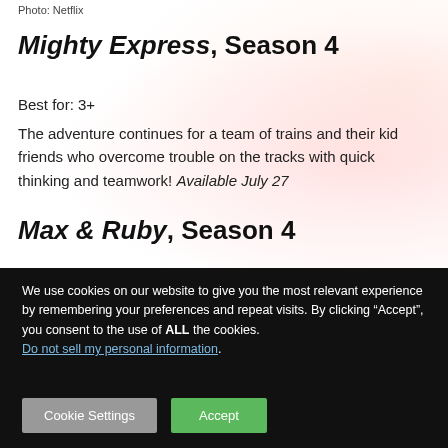Photo: Netflix
Mighty Express, Season 4
Best for: 3+
The adventure continues for a team of trains and their kid friends who overcome trouble on the tracks with quick thinking and teamwork! Available July 27
Max & Ruby, Season 4
We use cookies on our website to give you the most relevant experience by remembering your preferences and repeat visits. By clicking “Accept”, you consent to the use of ALL the cookies. Do not sell my personal information.